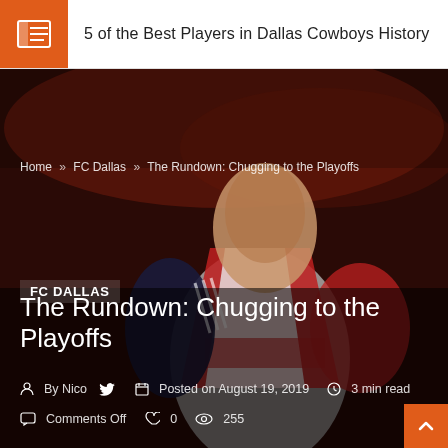5 of the Best Players in Dallas Cowboys History
Home » FC Dallas » The Rundown: Chugging to the Playoffs
[Figure (photo): FC Dallas soccer player wearing a red and white Advocare jersey with Adidas logo, photographed in action against a dark blurred background]
FC DALLAS
The Rundown: Chugging to the Playoffs
By Nico   Posted on August 19, 2019   3 min read
Comments Off   0   255